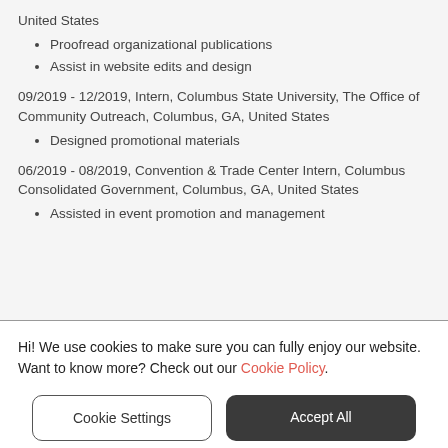United States
Proofread organizational publications
Assist in website edits and design
09/2019 - 12/2019, Intern, Columbus State University, The Office of Community Outreach, Columbus, GA, United States
Designed promotional materials
06/2019 - 08/2019, Convention & Trade Center Intern, Columbus Consolidated Government, Columbus, GA, United States
Assisted in event promotion and management
Hi! We use cookies to make sure you can fully enjoy our website. Want to know more? Check out our Cookie Policy.
Cookie Settings
Accept All